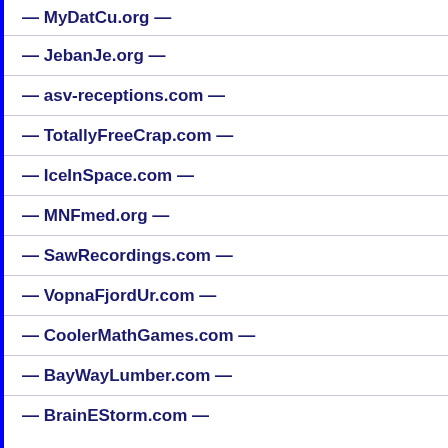— MyDatCu.org —
— JebanJe.org —
— asv-receptions.com —
— TotallyFreeCrap.com —
— IceInSpace.com —
— MNFmed.org —
— SawRecordings.com —
— VopnaFjordUr.com —
— CoolerMathGames.com —
— BayWayLumber.com —
— BrainEStorm.com —